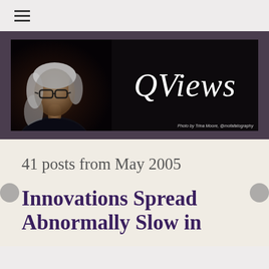[Figure (logo): QViews blog banner with a woman with grey hair and glasses on the left side on a dark background, and the text 'QViews' in large italic white script font on the right. Photo credit: 'Photo by Trina Moore, @mofafatography']
41 posts from May 2005
Innovations Spread Abnormally Slow in